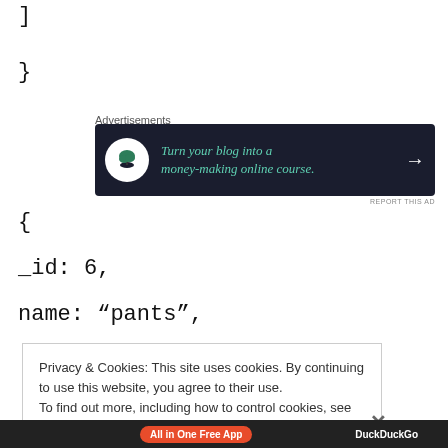]
}
Advertisements
[Figure (other): Advertisement banner: dark background with bonsai tree icon and text 'Turn your blog into a money-making online course.' with arrow.]
{
_id: 6,
name: “pants”,
Privacy & Cookies: This site uses cookies. By continuing to use this website, you agree to their use.
To find out more, including how to control cookies, see here: Cookie Policy
Close and accept